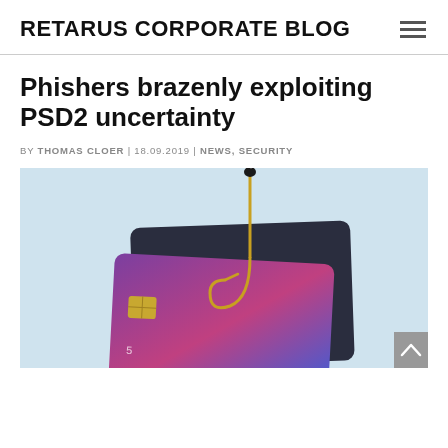RETARUS CORPORATE BLOG
Phishers brazenly exploiting PSD2 uncertainty
BY THOMAS CLOER | 18.09.2019 | NEWS, SECURITY
[Figure (photo): A gold fish hook holding up credit cards against a light blue background, symbolizing phishing attacks on banking/PSD2.]